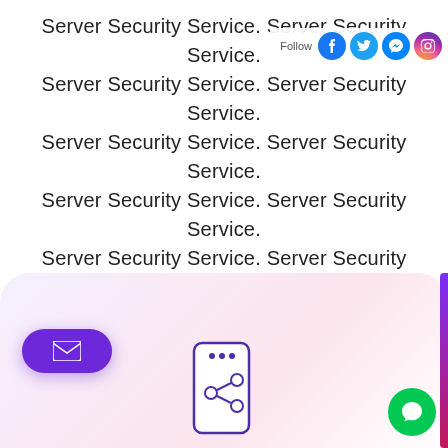Server Security Service. Server Security Service. Server Security Service. Server Security Service. Server Security Service. Server Security Service. Server Security Service. Server Security Service. Server Security Service. Server Security Service. Server Security Service. Server Security Service. Server Security Service. Server Security Service. Server Security Service.
[Figure (infographic): Bottom section with purple/pink gradient background containing: a purple pill-shaped email button on the left, a phone/share icon in the center, a green chat bubble on the bottom right, and a purple-to-pink vertical bar on the far right edge.]